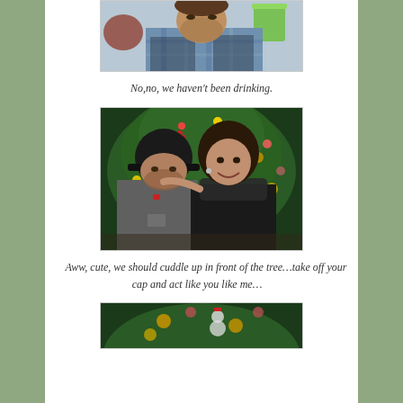[Figure (photo): Top portion of a man's face and upper body wearing a plaid shirt, cropped at the top of the page. A green cup is visible in the background.]
No,no, we haven't been drinking.
[Figure (photo): A couple posing in front of a decorated Christmas tree. The man wears a black Marathon Oil cap and gray jacket; the woman has dark curly hair and wears a black lace top and scarf. She has her arm around him and is smiling.]
Aww, cute, we should cuddle up in front of the tree…take off your cap and act like you like me…
[Figure (photo): Bottom portion of another photo showing a decorated Christmas tree with ornaments, partially visible at the bottom of the page.]